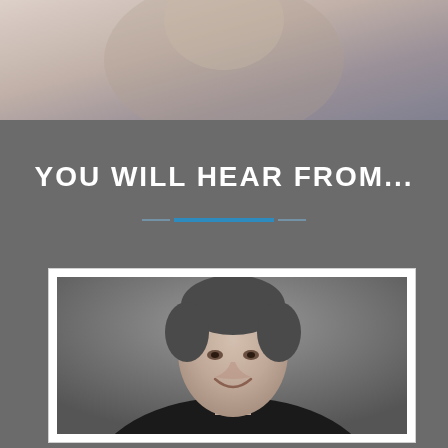[Figure (photo): Top portion of a background photo showing a blurred person or scene, partially cropped]
YOU WILL HEAR FROM...
[Figure (photo): Headshot photo of a middle-aged man with grey hair, smiling, wearing a dark jacket, against a grey background, displayed in a white-bordered card frame]